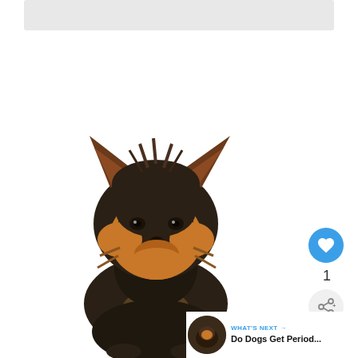[Figure (photo): Gray banner/advertisement placeholder at top of page]
[Figure (photo): Yorkshire Terrier puppy sitting upright on white background, facing forward with pointed ears and tan/black fur]
[Figure (other): Blue circular like/heart button with heart icon, showing count of 1]
1
[Figure (other): Light gray circular share button with share icon]
WHAT'S NEXT → Do Dogs Get Period...